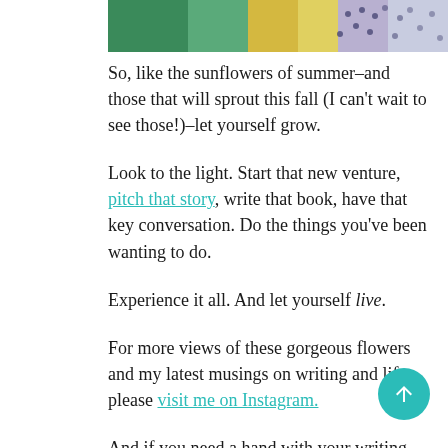[Figure (photo): Partial photo strip at top showing colorful flowers and polka dot fabric]
So, like the sunflowers of summer–and those that will sprout this fall (I can't wait to see those!)–let yourself grow.
Look to the light. Start that new venture, pitch that story, write that book, have that key conversation. Do the things you've been wanting to do.
Experience it all. And let yourself live.
For more views of these gorgeous flowers and my latest musings on writing and life, please visit me on Instagram.
And if you need a hand with your writing projects, career goals, see this page or this one for details on how I can help.